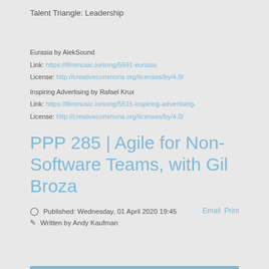Talent Triangle: Leadership
Eurasia by AlekSound
Link: https://filmmusic.io/song/5991-eurasia
License: http://creativecommons.org/licenses/by/4.0/
Inspiring Advertising by Rafael Krux
Link: https://filmmusic.io/song/5515-inspiring-advertising-
License: http://creativecommons.org/licenses/by/4.0/
PPP 285 | Agile for Non-Software Teams, with Gil Broza
Published: Wednesday, 01 April 2020 19:45
Written by Andy Kaufman